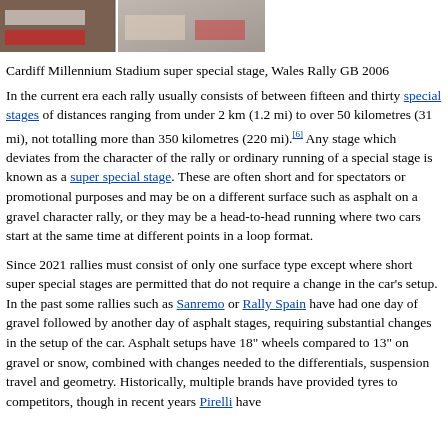[Figure (photo): Cardiff Millennium Stadium super special stage rally photo]
Cardiff Millennium Stadium super special stage, Wales Rally GB 2006
In the current era each rally usually consists of between fifteen and thirty special stages of distances ranging from under 2 km (1.2 mi) to over 50 kilometres (31 mi), not totalling more than 350 kilometres (220 mi).[6] Any stage which deviates from the character of the rally or ordinary running of a special stage is known as a super special stage. These are often short and for spectators or promotional purposes and may be on a different surface such as asphalt on a gravel character rally, or they may be a head-to-head running where two cars start at the same time at different points in a loop format.
Since 2021 rallies must consist of only one surface type except where short super special stages are permitted that do not require a change in the car's setup. In the past some rallies such as Sanremo or Rally Spain have had one day of gravel followed by another day of asphalt stages, requiring substantial changes in the setup of the car. Asphalt setups have 18" wheels compared to 13" on gravel or snow, combined with changes needed to the differentials, suspension travel and geometry. Historically, multiple brands have provided tyres to competitors, though in recent years Pirelli have